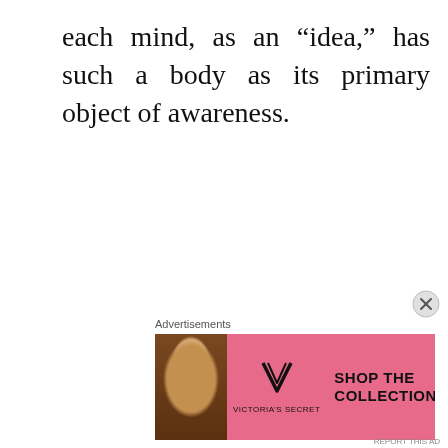each mind, as an “idea,” has such a body as its primary object of awareness.
[Figure (infographic): Victoria's Secret advertisement banner with a woman's photo on the left, VS logo and brand name in the center, 'SHOP THE COLLECTION' text in bold, and a white 'SHOP NOW' button on the right, on a pink background.]
Advertisements